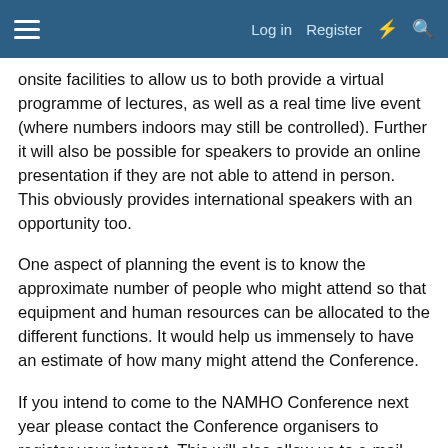Log in  Register
onsite facilities to allow us to both provide a virtual programme of lectures, as well as a real time live event (where numbers indoors may still be controlled). Further it will also be possible for speakers to provide an online presentation if they are not able to attend in person. This obviously provides international speakers with an opportunity too.
One aspect of planning the event is to know the approximate number of people who might attend so that equipment and human resources can be allocated to the different functions. It would help us immensely to have an estimate of how many might attend the Conference.
If you intend to come to the NAMHO Conference next year please contact the Conference organisers to register your interest. This will also allow us to e-mail you updates on trips, lectures and the overall programme as it becomes available.
Email NAMHO.21@shropshirecmc.org.uk to register your intent